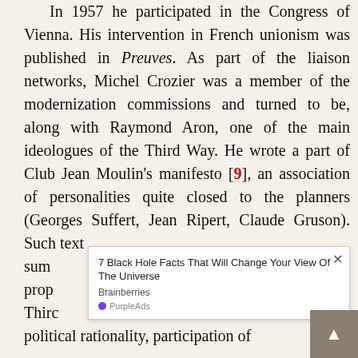In 1957 he participated in the Congress of Vienna. His intervention in French unionism was published in Preuves. As part of the liaison networks, Michel Crozier was a member of the modernization commissions and turned to be, along with Raymond Aron, one of the main ideologues of the Third Way. He wrote a part of Club Jean Moulin's manifesto [9], an association of personalities quite closed to the planners (Georges Suffert, Jean Ripert, Claude Gruson). Such text summ prop Thirc political rationality, participation of
[Figure (other): Advertisement overlay: '7 Black Hole Facts That Will Change Your View Of The Universe' from Brainberries, served by PurpleAds. Has a close (×) button. Partially obscures the main text.]